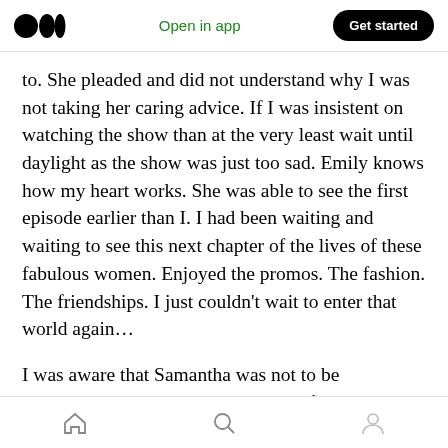Medium logo | Open in app | Get started
to. She pleaded and did not understand why I was not taking her caring advice. If I was insistent on watching the show than at the very least wait until daylight as the show was just too sad. Emily knows how my heart works. She was able to see the first episode earlier than I. I had been waiting and waiting to see this next chapter of the lives of these fabulous women. Enjoyed the promos. The fashion. The friendships. I just couldn't wait to enter that world again…
I was aware that Samantha was not to be included in the…
Home | Search | Profile